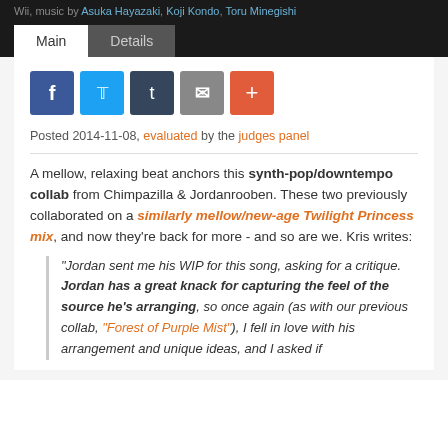Wii, music by Asuka Hayazaki, Koji Kondo, Toru Minegishi
Posted 2014-11-08, evaluated by the judges panel
A mellow, relaxing beat anchors this synth-pop/downtempo collab from Chimpazilla & Jordanrooben. These two previously collaborated on a similarly mellow/new-age Twilight Princess mix, and now they're back for more - and so are we. Kris writes:
"Jordan sent me his WIP for this song, asking for a critique. Jordan has a great knack for capturing the feel of the source he's arranging, so once again (as with our previous collab, "Forest of Purple Mist"), I fell in love with his arrangement and unique ideas, and I asked if